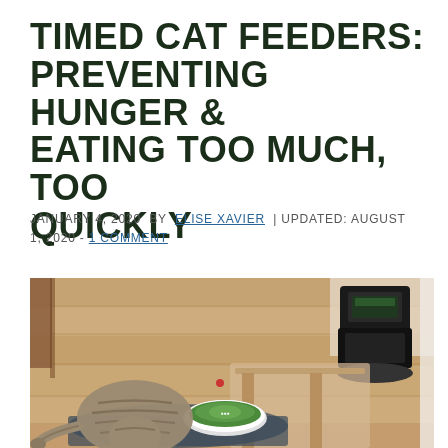TIMED CAT FEEDERS: PREVENTING HUNGER & EATING TOO MUCH, TOO QUICKLY
JANUARY 4, 2020  BY  ELISE XAVIER  | UPDATED: AUGUST 1, 2020 - 1 COMMENT
[Figure (photo): Overhead view of a tabby cat on a hardwood floor next to an automatic timed cat feeder with a round green-lidded bowl, with a larger black automatic feeder in the background]